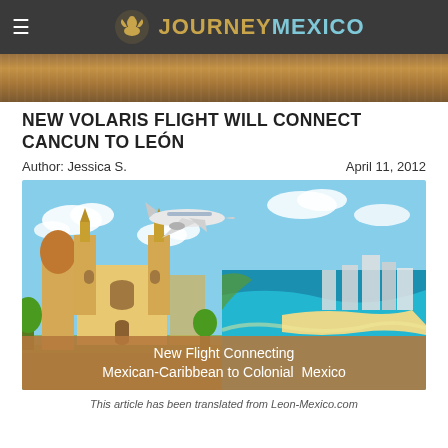JOURNEYMEXICO
[Figure (photo): Decorative wood-grain hero banner strip]
NEW VOLARIS FLIGHT WILL CONNECT CANCUN TO LEÓN
Author: Jessica S.
April 11, 2012
[Figure (photo): Composite image showing León cathedral on the left and aerial view of Cancun coastline on the right, with an airplane flying overhead. Overlay text reads: New Flight Connecting Mexican-Caribbean to Colonial Mexico]
This article has been translated from Leon-Mexico.com